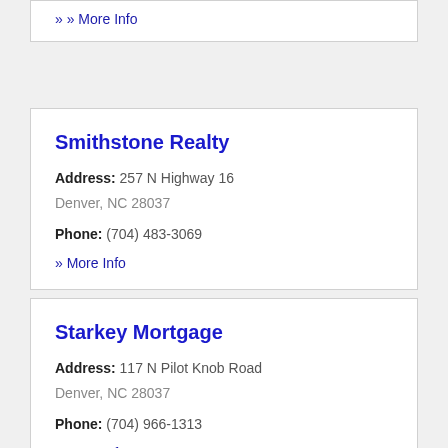» More Info
Smithstone Realty
Address: 257 N Highway 16
Denver, NC 28037
Phone: (704) 483-3069
» More Info
Starkey Mortgage
Address: 117 N Pilot Knob Road
Denver, NC 28037
Phone: (704) 966-1313
» More Info